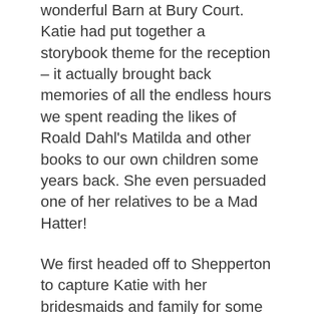wonderful Barn at Bury Court. Katie had put together a storybook theme for the reception – it actually brought back memories of all the endless hours we spent reading the likes of Roald Dahl's Matilda and other books to our own children some years back.  She even persuaded one of her relatives to be a Mad Hatter!
We first headed off to Shepperton to capture Katie with her bridesmaids and family for some of the bridal preparations then we made our way to the The Barn to catch some of Dan's preparations.  Katie arrived in an old London black cab that had apparently featured in the Miss Marple TV series and it was a nice touch that the driver was happy to leave the car at The Barn to accommodate some photos later in the day with Dan and Katie together.